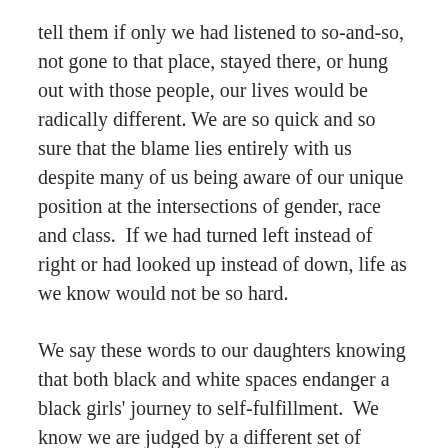tell them if only we had listened to so-and-so, not gone to that place, stayed there, or hung out with those people, our lives would be radically different. We are so quick and so sure that the blame lies entirely with us despite many of us being aware of our unique position at the intersections of gender, race and class.  If we had turned left instead of right or had looked up instead of down, life as we know would not be so hard.
We say these words to our daughters knowing that both black and white spaces endanger a black girls' journey to self-fulfillment.  We know we are judged by a different set of rules.  Our actions, whether positive or negative, acquire a supernatural ability to exalt or demote the entire black race.  We are also keenly aware of the pervasive double standard that still in full effect in our own communities